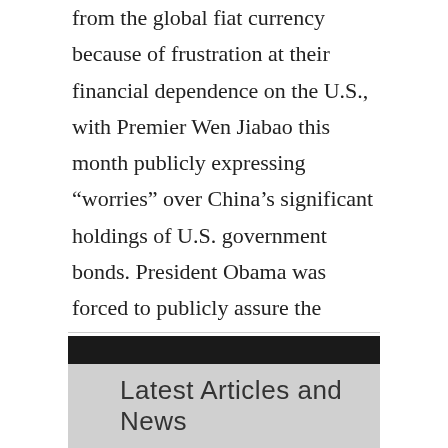from the global fiat currency because of frustration at their financial dependence on the U.S., with Premier Wen Jiabao this month publicly expressing “worries” over China’s significant holdings of U.S. government bonds. President Obama was forced to publicly assure the Chinese that all is well. Because other nations continued to park their money in U.S. dollars, the argument goes, the Federal Reserve was able to pursue an irresponsible policy in recent years, keeping interest rates too low for too long and thereby helping to inflate a bubble in the housing market.
Latest Articles and News